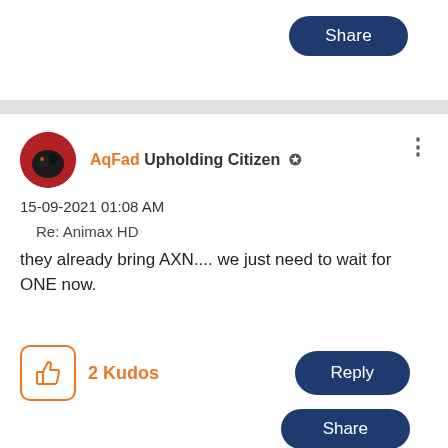Share
AqFad Upholding Citizen ✪
15-09-2021 01:08 AM
Re: Animax HD
they already bring AXN.... we just need to wait for ONE now.
2 Kudos
Reply
Share